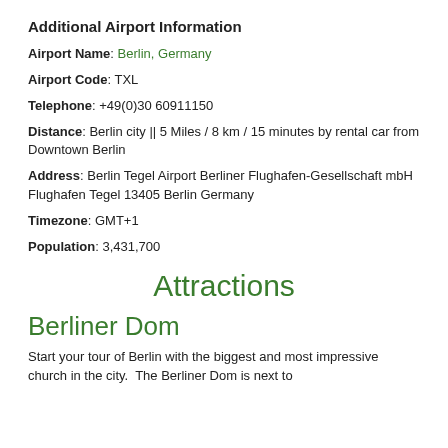Additional Airport Information
Airport Name: Berlin, Germany
Airport Code: TXL
Telephone: +49(0)30 60911150
Distance: Berlin city || 5 Miles / 8 km / 15 minutes by rental car from Downtown Berlin
Address: Berlin Tegel Airport Berliner Flughafen-Gesellschaft mbH Flughafen Tegel 13405 Berlin Germany
Timezone: GMT+1
Population: 3,431,700
Attractions
Berliner Dom
Start your tour of Berlin with the biggest and most impressive church in the city. The Berliner Dom is next to